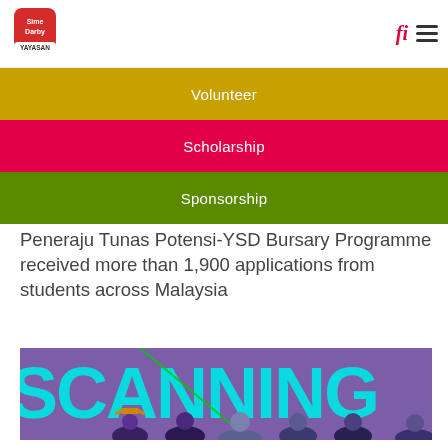[Figure (logo): Sime Darby Yayasan logo - red square with Sime Darby text and YAYASAN below]
fi ≡
Volunteer
Scholarship
Sponsorship
Peneraju Tunas Potensi-YSD Bursary Programme received more than 1,900 applications from students across Malaysia
[Figure (photo): Group of people at an event in front of a large screen displaying the word SCANNING in cyan/teal letters against a purple background]